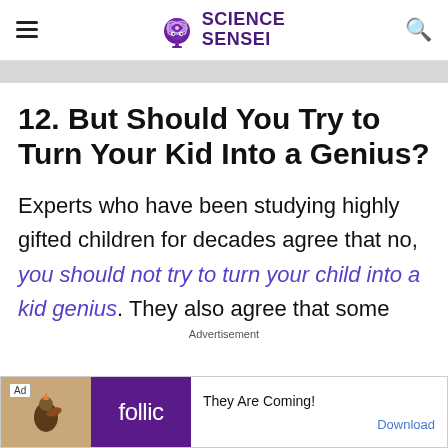SCIENCE SENSEI
12. But Should You Try to Turn Your Kid Into a Genius?
Experts who have been studying highly gifted children for decades agree that no, you should not try to turn your child into a kid genius. They also agree that some
Advertisement
[Figure (other): Advertisement banner for Follic app with 'They Are Coming!' text and a Download link]